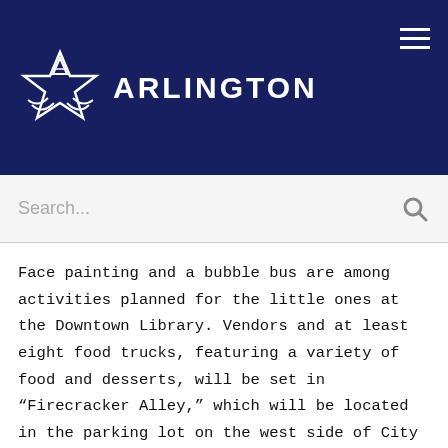[Figure (logo): Arlington city logo — white star with stylized letter A and swoosh lines, with 'ARLINGTON' text in white on navy background]
Search...
Face painting and a bubble bus are among activities planned for the little ones at the Downtown Library. Vendors and at least eight food trucks, featuring a variety of food and desserts, will be set in “Firecracker Alley,” which will be located in the parking lot on the west side of City Hall on Abram Street between Oak and Pecan streets. Food trucks are also expected to be available near activities held at the library, City Tower and Grease Monkey.